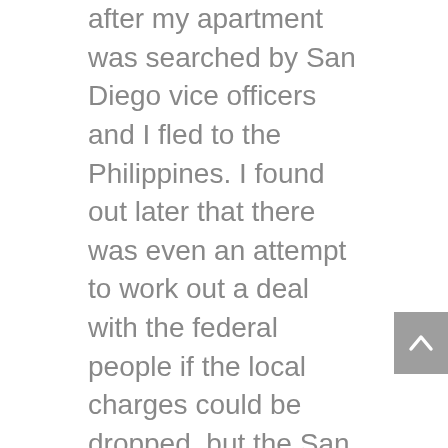after my apartment was searched by San Diego vice officers and I fled to the Philippines. I found out later that there was even an attempt to work out a deal with the federal people if the local charges could be dropped, but the San Diego district attorney refused to cooperate with the feds. But as I was resuming my life in CRC, I was unaware of any of this and had no idea I would be called to testify.
Naturally while I was in custody I was an easy mark for federal authorities. A note was left on my bunk on October 5, 1990, telling me to pack all my things